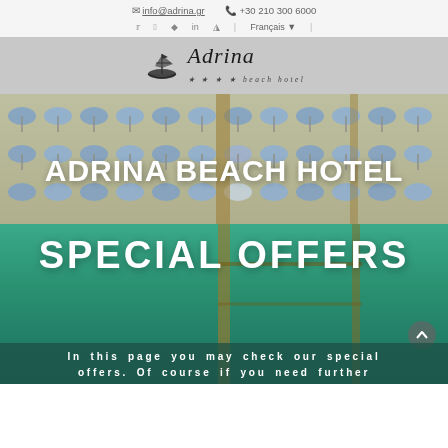info@adrina.gr  +30 210 300 6000
[Figure (logo): Adrina beach hotel logo with sailing ship icon and italic text 'Adrina' with subtitle '★★★★ beach hotel']
[Figure (photo): Aerial photograph of Adrina Beach Hotel beach area showing rows of beach umbrellas on sand and turquoise water with a pier/dock]
ADRINA BEACH HOTEL
SPECIAL OFFERS
In this page you may check our special offers. Of course if you need further